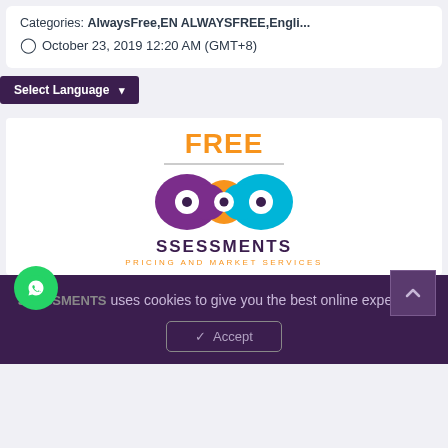Categories: AlwaysFree,EN ALWAYSFREE,Engli...
⊙ October 23, 2019 12:20 AM (GMT+8)
[Figure (logo): SSESSMENTS logo with FREE text, infinity-eye symbol in purple, pink and blue/teal, SSESSMENTS name and PRICING AND MARKET SERVICES tagline]
AlwaysFree: Norway's Sverdrup Fields Oil Cargo to Ship to China...
Categories: AlwaysFree,Asia Pacific,China,...
SSESSMENTS uses cookies to give you the best online experience
✓ Accept